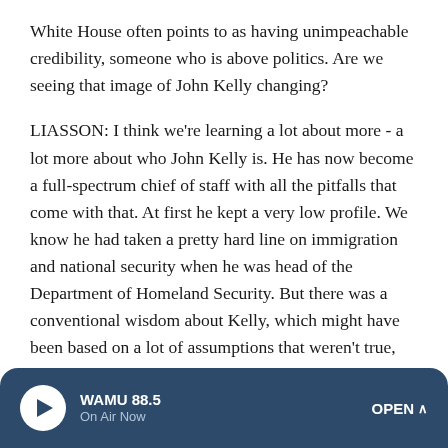White House often points to as having unimpeachable credibility, someone who is above politics. Are we seeing that image of John Kelly changing?
LIASSON: I think we're learning a lot about more - a lot more about who John Kelly is. He has now become a full-spectrum chief of staff with all the pitfalls that come with that. At first he kept a very low profile. We know he had taken a pretty hard line on immigration and national security when he was head of the Department of Homeland Security. But there was a conventional wisdom about Kelly, which might have been based on a lot of assumptions that weren't true, that he was apolitical and nonpartisan.
But now he's appearing in public more, and he's shown that
WAMU 88.5 On Air Now OPEN